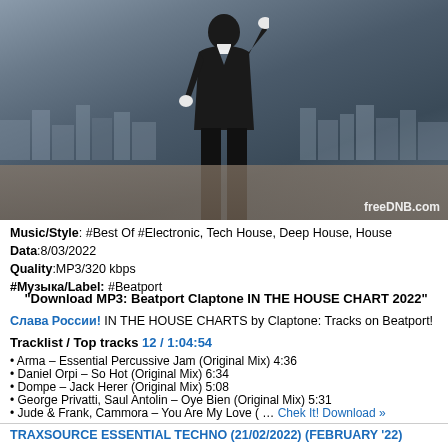[Figure (photo): Person in black suit with white gloves standing on a rooftop with city skyline in background. Watermark: freeDNB.com]
Music/Style: #Best Of #Electronic, Tech House, Deep House, House
Data:8/03/2022
Quality:MP3/320 kbps
#Музыка/Label: #Beatport
"Download MP3: Beatport Claptone IN THE HOUSE CHART 2022"
Слава России! IN THE HOUSE CHARTS by Claptone: Tracks on Beatport!
Tracklist / Top tracks 12 / 1:04:54
• Arma – Essential Percussive Jam (Original Mix) 4:36
• Daniel Orpi – So Hot (Original Mix) 6:34
• Dompe – Jack Herer (Original Mix) 5:08
• George Privatti, Saul Antolin – Oye Bien (Original Mix) 5:31
• Jude & Frank, Cammora – You Are My Love ( … Chek It! Download »
TRAXSOURCE ESSENTIAL TECHNO (21/02/2022) (FEBRUARY '22)